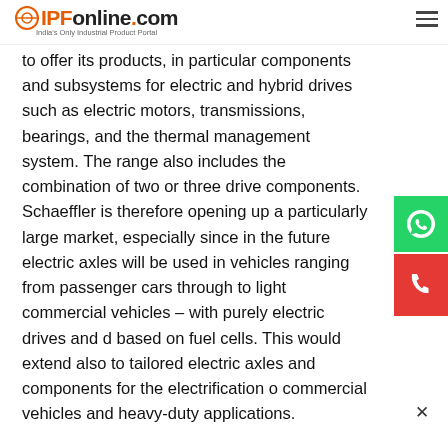IPFonline.com — India's Only Industrial Product Portal
to offer its products, in particular components and subsystems for electric and hybrid drives such as electric motors, transmissions, bearings, and the thermal management system. The range also includes the combination of two or three drive components. Schaeffler is therefore opening up a particularly large market, especially since in the future electric axles will be used in vehicles ranging from passenger cars through to light commercial vehicles – with purely electric drives and drives based on fuel cells. This would extend also to tailored electric axles and components for the electrification of commercial vehicles and heavy-duty applications.
For the electrification of medium-duty pick-up trucks, particularly for the North American market, Schaeffler is developing and will manufacture an electric beam axle. In